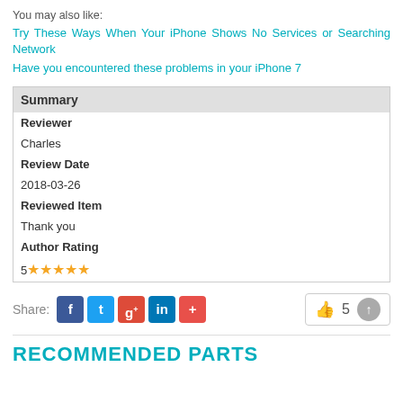You may also like:
Try These Ways When Your iPhone Shows No Services or Searching Network
Have you encountered these problems in your iPhone 7
| Summary |
| --- |
| Reviewer |
| Charles |
| Review Date |
| 2018-03-26 |
| Reviewed Item |
| Thank you |
| Author Rating |
| 5 ★★★★★ |
Share:
RECOMMENDED PARTS